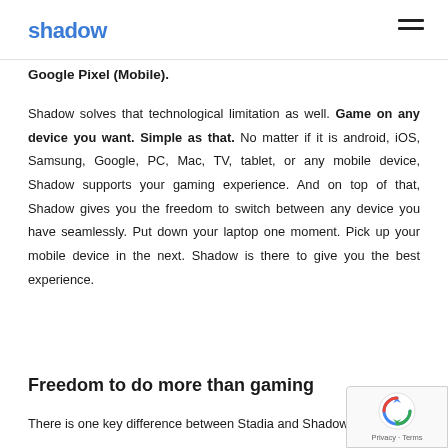shadow
Google Pixel (Mobile).
Shadow solves that technological limitation as well. Game on any device you want. Simple as that. No matter if it is android, iOS, Samsung, Google, PC, Mac, TV, tablet, or any mobile device, Shadow supports your gaming experience. And on top of that, Shadow gives you the freedom to switch between any device you have seamlessly. Put down your laptop one moment. Pick up your mobile device in the next. Shadow is there to give you the best experience.
Freedom to do more than gaming
There is one key difference between Stadia and Shadow